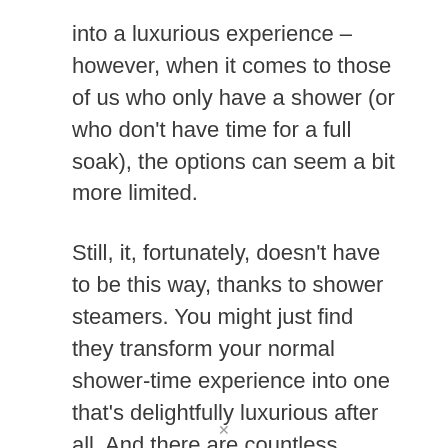into a luxurious experience – however, when it comes to those of us who only have a shower (or who don't have time for a full soak), the options can seem a bit more limited.
Still, it, fortunately, doesn't have to be this way, thanks to shower steamers. You might just find they transform your normal shower-time experience into one that's delightfully luxurious after all. And there are countless benefits associated with using shower steamers that could be worth considering.
Most notably, shower steamers offer all of the